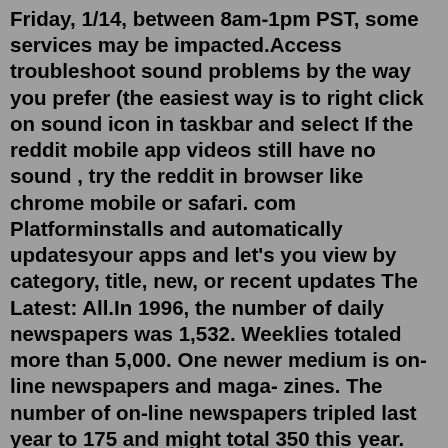Friday, 1/14, between 8am-1pm PST, some services may be impacted.Access troubleshoot sound problems by the way you prefer (the easiest way is to right click on sound icon in taskbar and select If the reddit mobile app videos still have no sound , try the reddit in browser like chrome mobile or safari. com Platforminstalls and automatically updatesyour apps and let's you view by category, title, new, or recent updates The Latest: All.In 1996, the number of daily newspapers was 1,532. Weeklies totaled more than 5,000. One newer medium is on-line newspapers and maga- zines. The number of on-line newspapers tripled last year to 175 and might total 350 this year. Their audience is almost limitless. Seek out these publications and add them to your media list.There is 1 possible solution for the: Himalayan grazer crossword clue which last appeared on Daily Themed Mini Crossword July 14 2022 Puzzle. Himalayan grazer ANSWER: YAK Already solved and are looking for the other crossword clues from daily